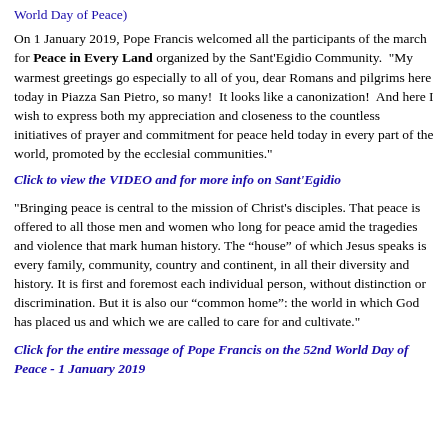World Day of Peace)
On 1 January 2019, Pope Francis welcomed all the participants of the march for Peace in Every Land organized by the Sant'Egidio Community.  "My warmest greetings go especially to all of you, dear Romans and pilgrims here today in Piazza San Pietro, so many!  It looks like a canonization!  And here I wish to express both my appreciation and closeness to the countless initiatives of prayer and commitment for peace held today in every part of the world, promoted by the ecclesial communities."
Click to view the VIDEO and for more info on Sant'Egidio
"Bringing peace is central to the mission of Christ’s disciples. That peace is offered to all those men and women who long for peace amid the tragedies and violence that mark human history. The “house” of which Jesus speaks is every family, community, country and continent, in all their diversity and history. It is first and foremost each individual person, without distinction or discrimination. But it is also our “common home”: the world in which God has placed us and which we are called to care for and cultivate."
Click for the entire message of Pope Francis on the 52nd World Day of Peace - 1 January 2019